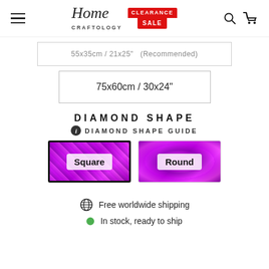[Figure (logo): Home Craftology logo with Clearance Sale badge, hamburger menu, search icon, and cart icon in page header]
55x35cm / 21x25" (Recommended)
75x60cm / 30x24"
DIAMOND SHAPE
DIAMOND SHAPE GUIDE
[Figure (illustration): Two diamond shape option buttons: Square (selected, with black border) and Round, both showing purple diamond texture background]
Free worldwide shipping
In stock, ready to ship